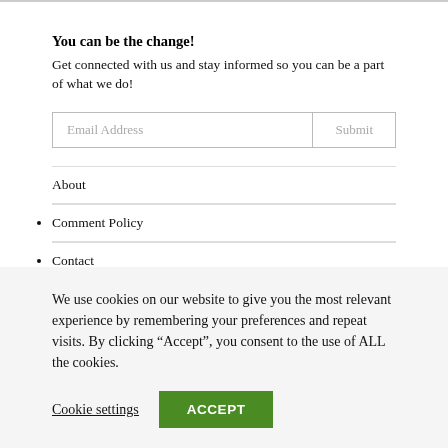You can be the change!
Get connected with us and stay informed so you can be a part of what we do!
Email Address | Submit
About
Comment Policy
Contact
We use cookies on our website to give you the most relevant experience by remembering your preferences and repeat visits. By clicking “Accept”, you consent to the use of ALL the cookies.
Cookie settings | ACCEPT